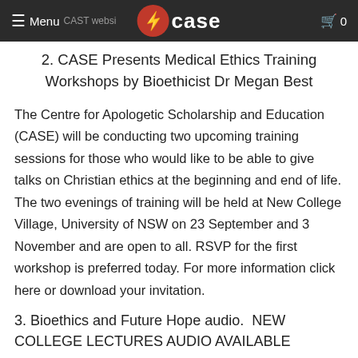Menu CAST website [CASE logo] 0
2. CASE Presents Medical Ethics Training Workshops by Bioethicist Dr Megan Best
The Centre for Apologetic Scholarship and Education (CASE) will be conducting two upcoming training sessions for those who would like to be able to give talks on Christian ethics at the beginning and end of life. The two evenings of training will be held at New College Village, University of NSW on 23 September and 3 November and are open to all. RSVP for the first workshop is preferred today. For more information click here or download your invitation.
3. Bioethics and Future Hope audio.  NEW COLLEGE LECTURES AUDIO AVAILABLE